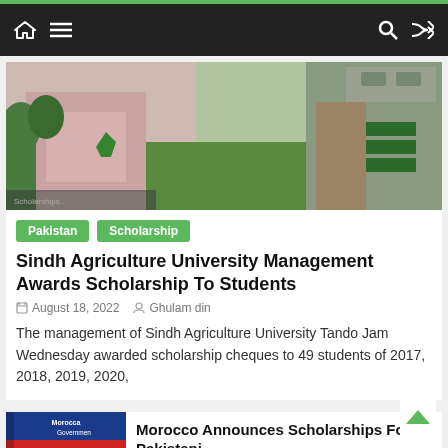Navigation bar with home, menu, search, and shuffle icons
[Figure (photo): Aerial/ground view of Sindh Agriculture University campus with green lawns, buildings and parking area]
Pakistan   Scholarship
Sindh Agriculture University Management Awards Scholarship To Students
August 18, 2022   Ghulam din
The management of Sindh Agriculture University Tando Jam Wednesday awarded scholarship cheques to 49 students of 2017, 2018, 2019, 2020,
[Figure (photo): Morocco Government Scholarships 2022 banner/poster thumbnail]
Morocco Announces Scholarships For Pakistani